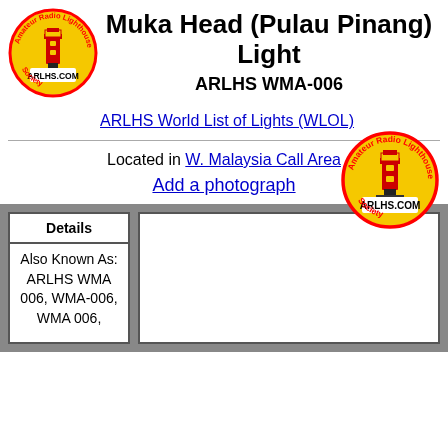[Figure (logo): ARLHS Amateur Radio Lighthouse Society circular logo with red lighthouse on yellow background]
Muka Head (Pulau Pinang) Light
ARLHS WMA-006
ARLHS World List of Lights (WLOL)
[Figure (logo): ARLHS Amateur Radio Lighthouse Society circular logo with red lighthouse on yellow background]
Located in W. Malaysia Call Area
Add a photograph
| Details |
| --- |
| Also Known As: ARLHS WMA 006, WMA-006, WMA 006, |
[Figure (photo): Empty white photo placeholder box]